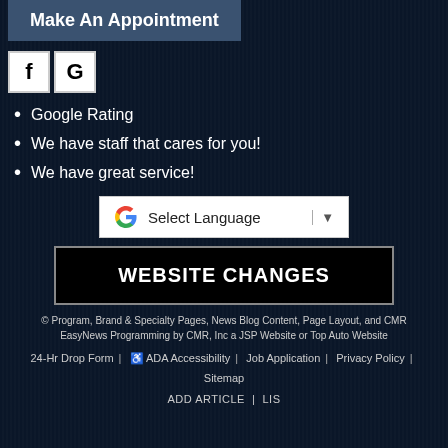Make An Appointment
[Figure (logo): Facebook and Google social media icon buttons]
Google Rating
We have staff that cares for you!
We have great service!
[Figure (other): Google Translate Select Language dropdown widget]
WEBSITE CHANGES
© Program, Brand & Specialty Pages, News Blog Content, Page Layout, and CMR EasyNews Programming by CMR, Inc a JSP Website or Top Auto Website
24-Hr Drop Form | ADA Accessibility | Job Application | Privacy Policy | Sitemap
ADD ARTICLE | LIS